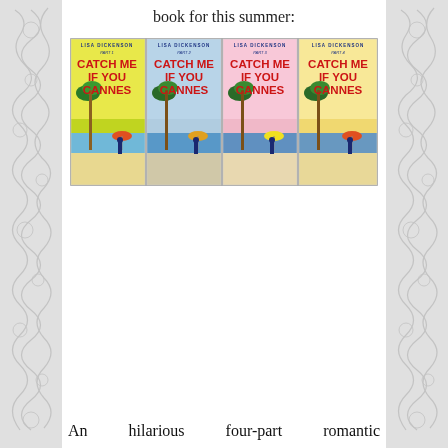book for this summer:
[Figure (illustration): Four book covers for 'Catch Me If You Cannes' by Lisa Dickenson, Parts 1–4, each with a different background color (yellow-green, blue, pink, warm yellow), showing 'CATCH ME IF YOU CANNES' in red uppercase bold text, with beach/seaside scenes at the bottom.]
An hilarious four-part romantic